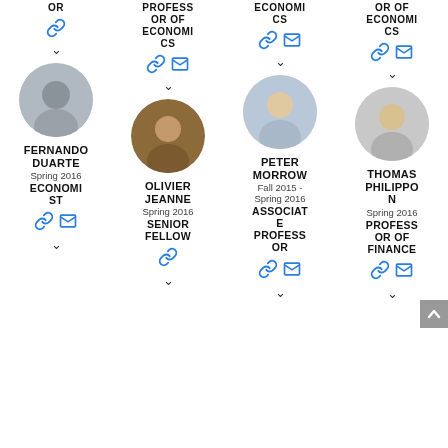OR
PROFESSOR OF ECONOMICS
ECONOMICS
OR OF ECONOMICS
[Figure (photo): Headshot of Fernando Duarte]
FERNANDO DUARTE
Spring 2016
ECONOMIST
[Figure (photo): Headshot of Olivier Jeanne]
OLIVIER JEANNE
Spring 2016
SENIOR FELLOW
[Figure (photo): Headshot of Peter Morrow]
PETER MORROW
Fall 2015 - Spring 2016
ASSOCIATE PROFESSOR
[Figure (photo): Headshot of Thomas Philippon]
THOMAS PHILIPPON
Spring 2016
PROFESSOR OF FINANCE